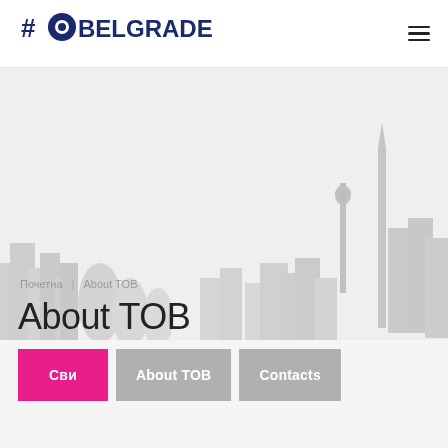[Figure (logo): #GoBelgrade logo with map pin icon and bold text]
[Figure (illustration): Belgrade city skyline silhouette in light gray with Victor monument and buildings]
Почетна | About TOB
About TOB
Сви
About TOB
Contacts